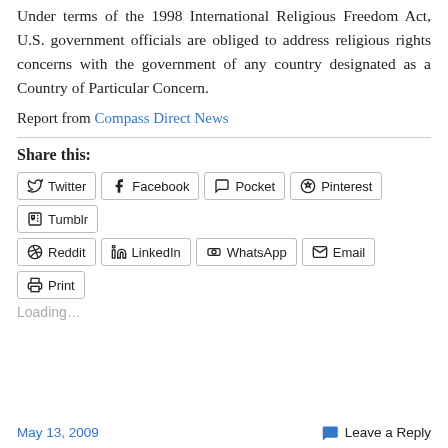Under terms of the 1998 International Religious Freedom Act, U.S. government officials are obliged to address religious rights concerns with the government of any country designated as a Country of Particular Concern.
Report from Compass Direct News
Share this:
Twitter Facebook Pocket Pinterest Tumblr Reddit LinkedIn WhatsApp Email Print
Loading...
May 13, 2009   Leave a Reply